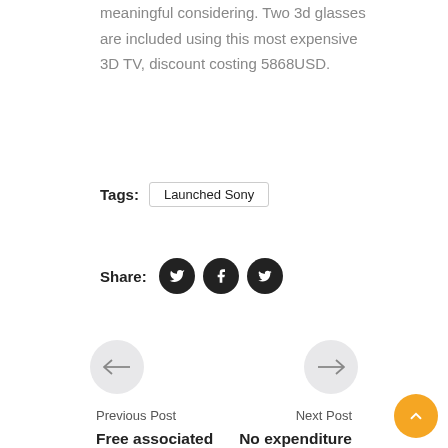meaningful considering. Two 3d glasses are included using this most expensive 3D TV, discount costing 5868USD.
Tags: Launched Sony
Share:
[Figure (other): Navigation arrows: left arrow circle and right arrow circle for previous/next post navigation]
Previous Post
Next Post
Free associated with cost you Over the internet Games
No expenditure Desktop computer chip Gain Requires